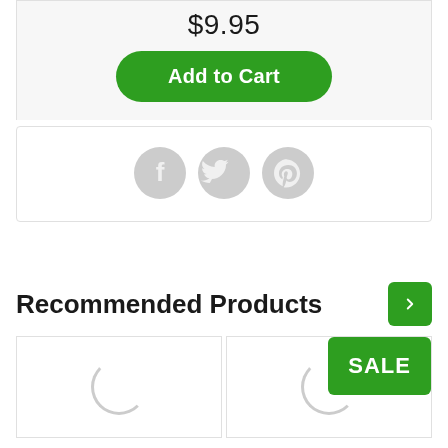$9.95
Add to Cart
[Figure (other): Social sharing icons: Facebook, Twitter, Pinterest]
Recommended Products
[Figure (other): Product cards with loading spinners; SALE badge on second card]